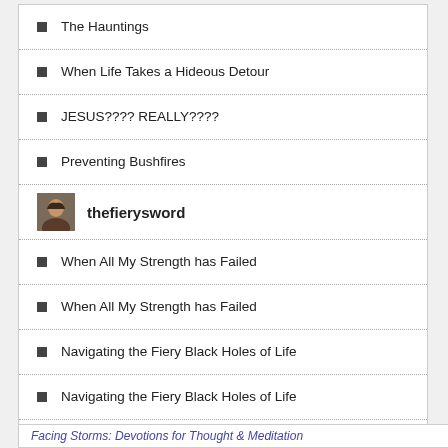The Hauntings
When Life Takes a Hideous Detour
JESUS???? REALLY????
Preventing Bushfires
thefierysword
When All My Strength has Failed
When All My Strength has Failed
Navigating the Fiery Black Holes of Life
Navigating the Fiery Black Holes of Life
Navigating the Fiery Black Holes of Life
Facing Storms: Devotions for Thought & Meditation